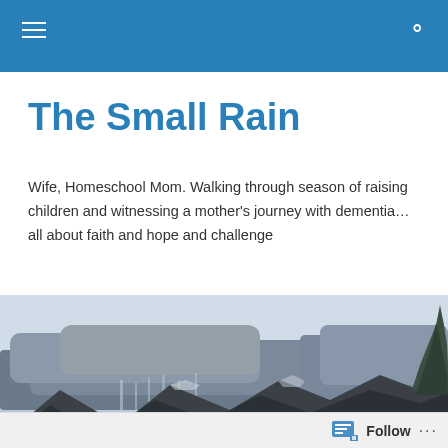The Small Rain blog navigation header
The Small Rain
Wife, Homeschool Mom. Walking through season of raising children and witnessing a mother's journey with dementia…all about faith and hope and challenge
[Figure (photo): Panoramic photograph of dark storm clouds over mountain ridgeline with coniferous trees on right side]
MONTHLY ARCHIVES: MARCH 2014
Arduous Contentment…